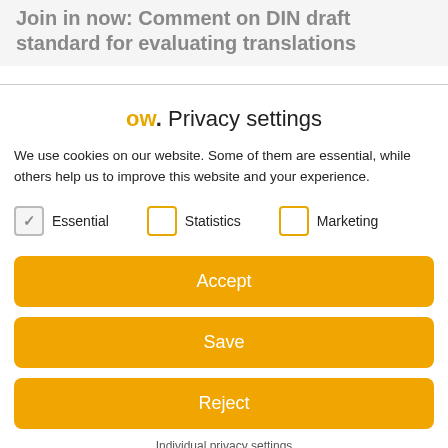Join in now: Comment on DIN draft standard for evaluating translations
ow. Privacy settings
We use cookies on our website. Some of them are essential, while others help us to improve this website and your experience.
Essential (checked)
Statistics (unchecked)
Marketing (unchecked)
Accept
Save
Reject
Individual privacy settings